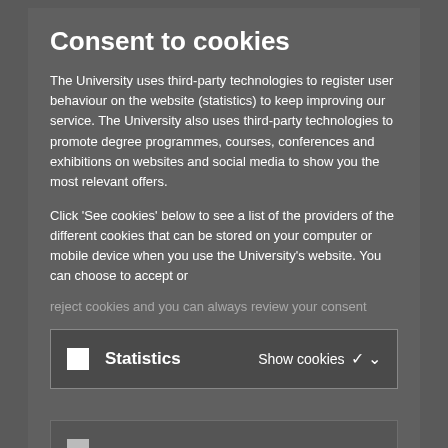Consent to cookies
The University uses third-party technologies to register user behaviour on the website (statistics) to keep improving our service. The University also uses third-party technologies to promote degree programmes, courses, conferences and exhibitions on websites and social media to show you the most relevant offers.
Click 'See cookies' below to see a list of the providers of the different cookies that can be stored on your computer or mobile device when you use the University's website. You can choose to accept or reject cookies and you can always review your consent
Statistics   Show cookies ∨
(faded row with checkbox)